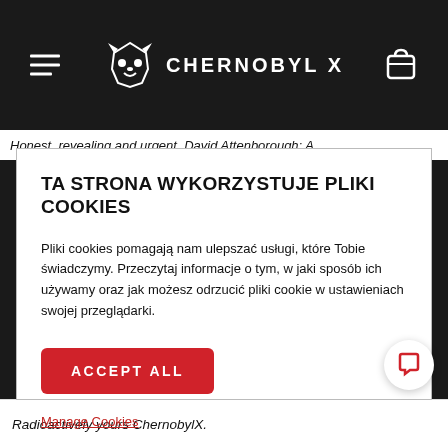CHERNOBYL X
Honest, revealing and urgent. David Attenborough: A
TA STRONA WYKORZYSTUJE PLIKI COOKIES
Pliki cookies pomagają nam ulepszać usługi, które Tobie świadczymy. Przeczytaj informacje o tym, w jaki sposób ich używamy oraz jak możesz odrzucić pliki cookie w ustawieniach swojej przeglądarki.
ACCEPT ALL
Manage Cookies
Radioactively yours ChernobylX.